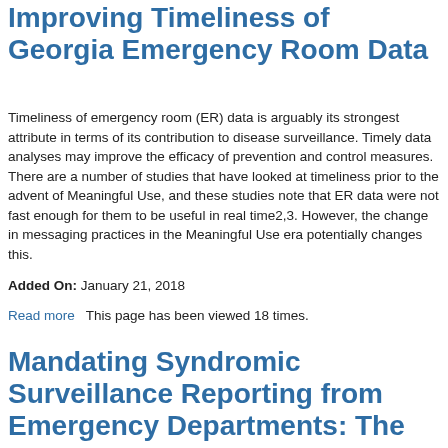Improving Timeliness of Georgia Emergency Room Data
Timeliness of emergency room (ER) data is arguably its strongest attribute in terms of its contribution to disease surveillance. Timely data analyses may improve the efficacy of prevention and control measures. There are a number of studies that have looked at timeliness prior to the advent of Meaningful Use, and these studies note that ER data were not fast enough for them to be useful in real time2,3. However, the change in messaging practices in the Meaningful Use era potentially changes this.
Added On: January 21, 2018
Read more   This page has been viewed 18 times.
Mandating Syndromic Surveillance Reporting from Emergency Departments: The Washington Experience